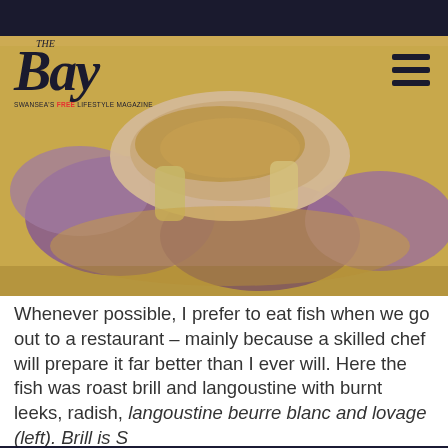The Bay - Swansea's Free Lifestyle Magazine
[Figure (photo): Close-up food photo showing roast brill and langoustine with burnt leeks and radish on a plate with golden sauce]
Whenever possible, I prefer to eat fish when we go out to a restaurant – mainly because a skilled chef will prepare it far better than I ever will. Here the fish was roast brill and langoustine with burnt leeks, radish, langoustine beurre blanc and lovage (left). Brill is S... b... O... balance.
We use cookies on our website, for full details please see our Privacy Policy. We would like your consent to use cookies that allow us to give you a personalised experience and advertise to you elsewhere on the internet. Click ALLOW if you're happy for us to do this. You can also choose to disable all optional cookies by clicking DISABLE.
Allow   Disable
T...